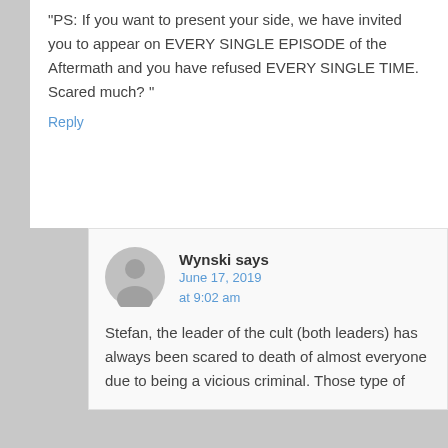“PS: If you want to present your side, we have invited you to appear on EVERY SINGLE EPISODE of the Aftermath and you have refused EVERY SINGLE TIME. Scared much? ”
Reply
Wynski says June 17, 2019 at 9:02 am
Stefan, the leader of the cult (both leaders) has always been scared to death of almost everyone due to being a vicious criminal. Those type of